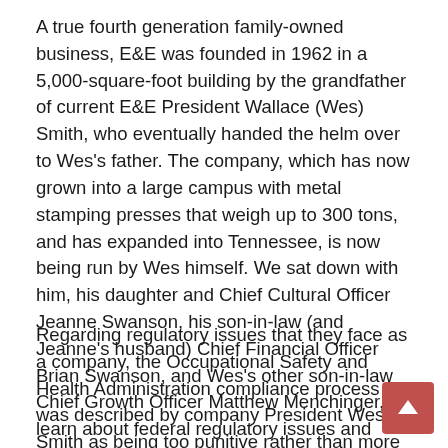A true fourth generation family-owned business, E&E was founded in 1962 in a 5,000-square-foot building by the grandfather of current E&E President Wallace (Wes) Smith, who eventually handed the helm over to Wes's father. The company, which has now grown into a large campus with metal stamping presses that weigh up to 300 tons, and has expanded into Tennessee, is now being run by Wes himself. We sat down with him, his daughter and Chief Cultural Officer Jeanne Swanson, his son-in-law (and Jeanne's husband) Chief Financial Officer Brian Swanson, and Wes's other son-in-law Chief Growth Officer Matthew Menchinger, to learn about federal regulatory issues and trade issues affecting their small business.
Regarding regulatory issues that they face as a company, the Occupational Safety and Health Administration compliance process was described by company President Wes Smith as being too punitive rather than more assistive, which is a concern that Advocacy has heard from many small businesses as we have traveled the country holding Regional Regulatory Reform